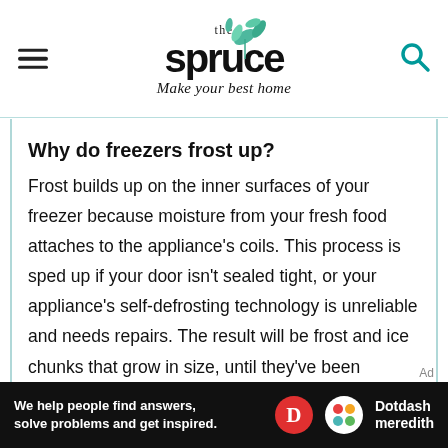the spruce — Make your best home
Why do freezers frost up?
Frost builds up on the inner surfaces of your freezer because moisture from your fresh food attaches to the appliance's coils. This process is sped up if your door isn't sealed tight, or your appliance's self-defrosting technology is unreliable and needs repairs. The result will be frost and ice chunks that grow in size, until they've been chipped or drained away, and less storage space for
[Figure (screenshot): Dotdash Meredith advertisement banner: 'We help people find answers, solve problems and get inspired.' with Dotdash and Meredith logos]